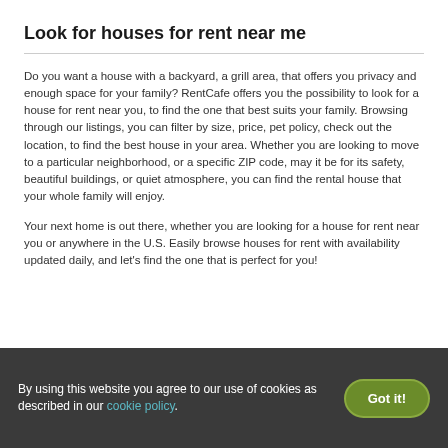Look for houses for rent near me
Do you want a house with a backyard, a grill area, that offers you privacy and enough space for your family? RentCafe offers you the possibility to look for a house for rent near you, to find the one that best suits your family. Browsing through our listings, you can filter by size, price, pet policy, check out the location, to find the best house in your area. Whether you are looking to move to a particular neighborhood, or a specific ZIP code, may it be for its safety, beautiful buildings, or quiet atmosphere, you can find the rental house that your whole family will enjoy.
Your next home is out there, whether you are looking for a house for rent near you or anywhere in the U.S. Easily browse houses for rent with availability updated daily, and let's find the one that is perfect for you!
By using this website you agree to our use of cookies as described in our cookie policy.